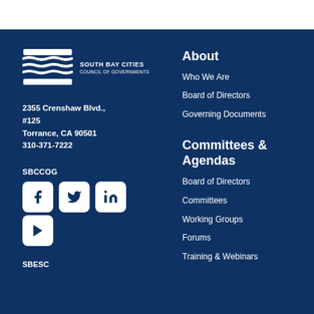[Figure (logo): South Bay Cities Council of Governments logo with wave design and organization name]
2355 Crenshaw Blvd., #125
Torrance, CA 90501
310-371-7222
SBCCOG
[Figure (illustration): Social media icons: Facebook, Twitter, LinkedIn, YouTube]
SBESC
About
Who We Are
Board of Directors
Governing Documents
Committees & Agendas
Board of Directors
Committees
Working Groups
Forums
Training & Webinars